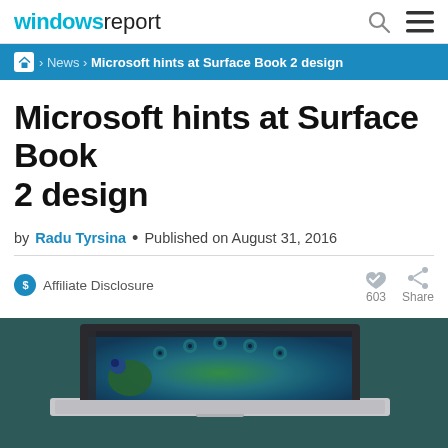windows report
Home › News › Microsoft hints at Surface Book 2 design
Microsoft hints at Surface Book 2 design
by Radu Tyrsina • Published on August 31, 2016
Affiliate Disclosure
603 Share
[Figure (photo): Microsoft Surface Book laptop displaying a peacock image in Photoshop, on a dark teal background]